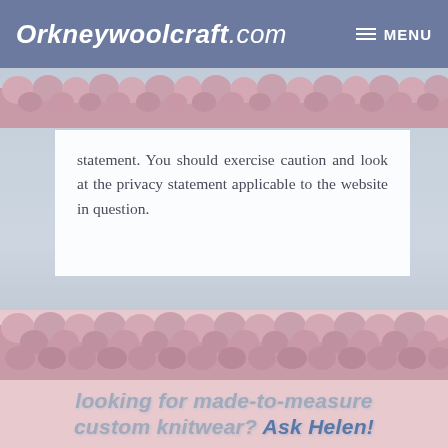Orkneywoolcraft.com   MENU
statement. You should exercise caution and look at the privacy statement applicable to the website in question.
[Figure (photo): Pink/mauve knitted or crocheted wool texture strip dividing sections]
looking for made-to-measure custom knitwear? Ask Helen!